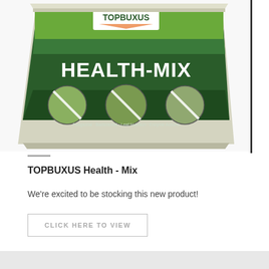[Figure (photo): TOPBUXUS Health-Mix product bucket with green label showing brand logo, product name HEALTH-MIX in large white bold text on dark green background, and three circular images of plants/pests with diagonal cross lines]
TOPBUXUS Health - Mix
We're excited to be stocking this new product!
CLICK HERE TO VIEW